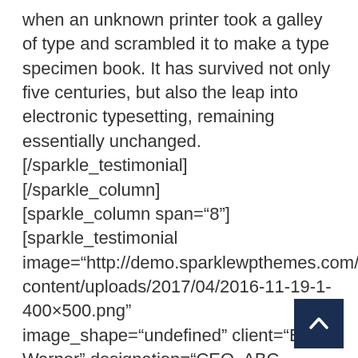when an unknown printer took a galley of type and scrambled it to make a type specimen book. It has survived not only five centuries, but also the leap into electronic typesetting, remaining essentially unchanged.
[/sparkle_testimonial]
[/sparkle_column]
[sparkle_column span="8"]
[sparkle_testimonial image="http://demo.sparklewpthemes.com/sparklest content/uploads/2017/04/2016-11-19-1-400×500.png" image_shape="undefined" client="Billy Warner" designation="CEO, ABC Corp."]
Lorem Ipsum is simply dummy text of the printing and typesetting industry. Lorem Ipsum has been the industry's standard dummy text ever since the 1500s, when an unknown printer took a galley of type and
[Figure (other): Back to top button — dark navy square with white upward-pointing chevron arrow]